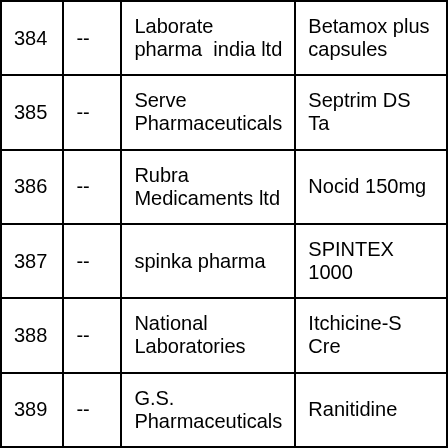| 384 | -- | Laborate pharma india ltd | Betamox plus capsules |
| 385 | -- | Serve Pharmaceuticals | Septrim DS Ta |
| 386 | -- | Rubra Medicaments ltd | Nocid 150mg |
| 387 | -- | spinka pharma | SPINTEX 1000 |
| 388 | -- | National Laboratories | Itchicine-S Cre |
| 389 | -- | G.S. Pharmaceuticals | Ranitidine |